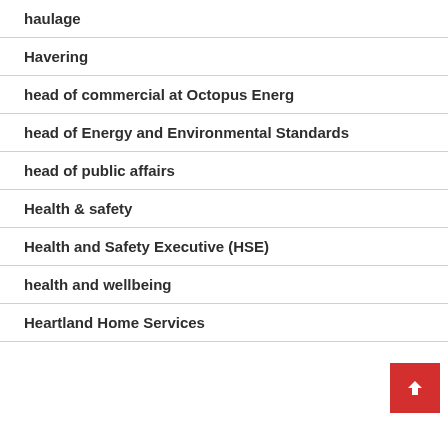haulage
Havering
head of commercial at Octopus Energ
head of Energy and Environmental Standards
head of public affairs
Health & safety
Health and Safety Executive (HSE)
health and wellbeing
Heartland Home Services